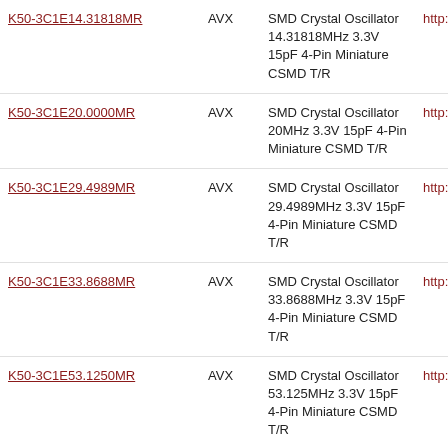| Part Number | Manufacturer | Description | Link |
| --- | --- | --- | --- |
| K50-3C1E14.31818MR | AVX | SMD Crystal Oscillator 14.31818MHz 3.3V 15pF 4-Pin Miniature CSMD T/R | http://gl |
| K50-3C1E20.0000MR | AVX | SMD Crystal Oscillator 20MHz 3.3V 15pF 4-Pin Miniature CSMD T/R | http://gl |
| K50-3C1E29.4989MR | AVX | SMD Crystal Oscillator 29.4989MHz 3.3V 15pF 4-Pin Miniature CSMD T/R | http://gl |
| K50-3C1E33.8688MR | AVX | SMD Crystal Oscillator 33.8688MHz 3.3V 15pF 4-Pin Miniature CSMD T/R | http://gl |
| K50-3C1E53.1250MR | AVX | SMD Crystal Oscillator 53.125MHz 3.3V 15pF 4-Pin Miniature CSMD T/R | http://gl |
|  |  | SMD Crystal |  |